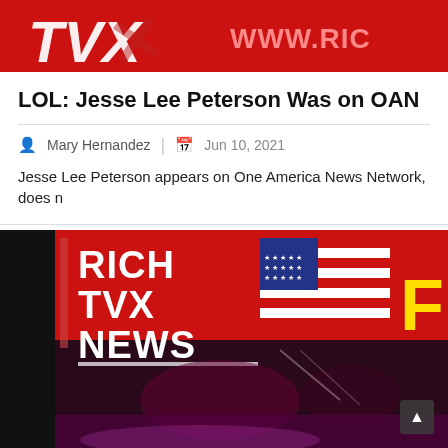[Figure (screenshot): Rich TVX News banner with red background, 'TVX' text and 'WWW.RIC' partially visible on right]
LOL: Jesse Lee Peterson Was on OAN
Mary Hernandez  |  Jun 10, 2021
Jesse Lee Peterson appears on One America News Network, does n
[Figure (screenshot): Rich TVX News studio logo with American flag, red background, text reading RICH TVX NEWS, partially visible yellow letter on right, dark lower portion showing broadcast equipment]